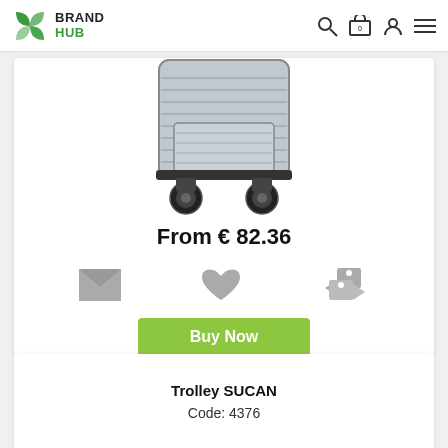Brand Hub
[Figure (photo): Silver/grey hard-shell trolley suitcase with spinner wheels, bottom half visible, on white background]
From € 82.36
[Figure (infographic): Action icons: envelope (email), heart (favourite), compare tags]
Buy Now
Trolley SUCAN
Code: 4376